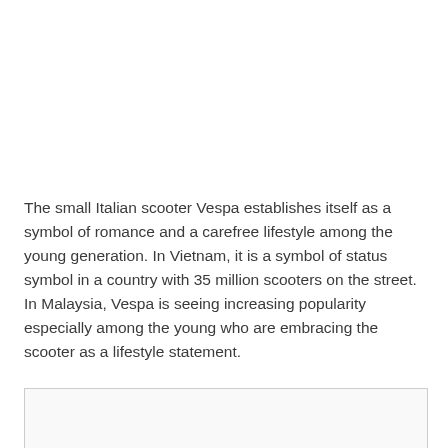The small Italian scooter Vespa establishes itself as a symbol of romance and a carefree lifestyle among the young generation. In Vietnam, it is a symbol of status symbol in a country with 35 million scooters on the street. In Malaysia, Vespa is seeing increasing popularity especially among the young who are embracing the scooter as a lifestyle statement.
[Figure (photo): Partially visible image/photo at the bottom of the page, cut off]